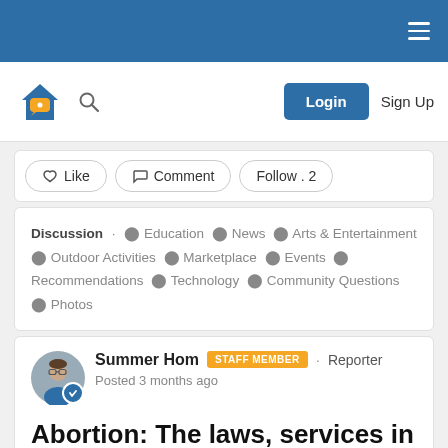Navigation bar with hamburger menu
[Figure (logo): Patch community platform logo - house shape with chat bubble, blue and gold colors]
Login  Sign Up
Like  Comment  Follow . 2
Discussion · Education · News · Arts & Entertainment · Outdoor Activities · Marketplace · Events · Recommendations · Technology · Community Questions · Photos
Summer Hom  STAFF MEMBER  ·  Reporter
Posted 3 months ago
Abortion: The laws, services in Cochise County